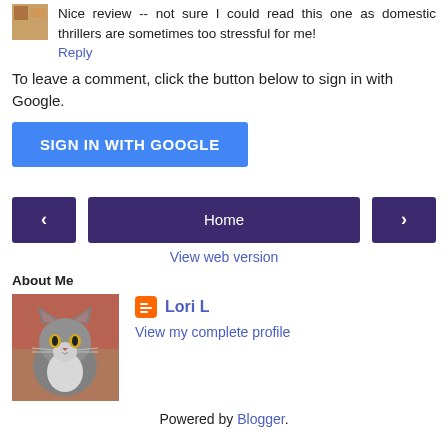Nice review -- not sure I could read this one as domestic thrillers are sometimes too stressful for me!
Reply
To leave a comment, click the button below to sign in with Google.
SIGN IN WITH GOOGLE
[Figure (other): Navigation row with left arrow button, Home button, and right arrow button]
View web version
About Me
[Figure (photo): Profile photo of a gray and white cat with yellow eyes]
Lori L
View my complete profile
Powered by Blogger.